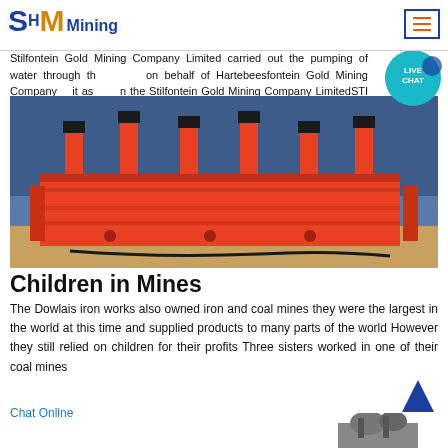SHM Mining
Stilfontein Gold Mining Company Limited carried out the pumping of water through the organ on behalf of Hartebeesfontein Gold Mining Company and it as ling in the Stilfontein Gold Mining Company LimitedSTI stock quote Other Equity Listing by Stilfontein Gold Mining Company Limited.
Chat Online
[Figure (photo): Orange/red industrial flotation machine equipment with multiple cylindrical air inlet pipes on top, set against a blue background wall.]
Children in Mines
The Dowlais iron works also owned iron and coal mines they were the largest in the world at this time and supplied products to many parts of the world However they still relied on children for their profits Three sisters worked in one of their coal mines
Chat Online
[Figure (photo): Partial view of a small machine or equipment at the bottom of the page.]